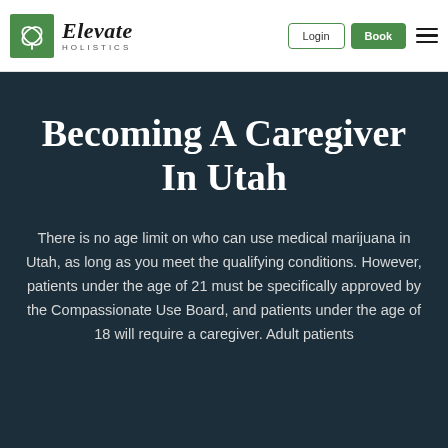Elevate Holistics | Login | Book
Becoming A Caregiver In Utah
There is no age limit on who can use medical marijuana in Utah, as long as you meet the qualifying conditions. However, patients under the age of 21 must be specifically approved by the Compassionate Use Board, and patients under the age of 18 will require a caregiver. Adult patients